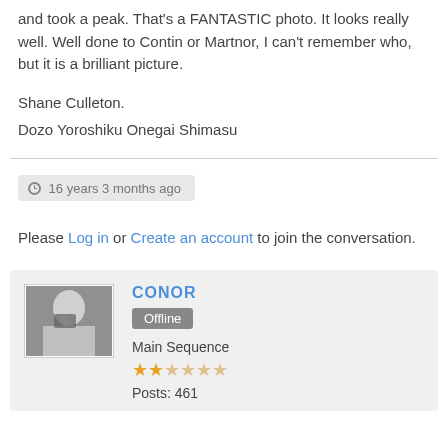and took a peak. That's a FANTASTIC photo. It looks really well. Well done to Contin or Martnor, I can't remember who, but it is a brilliant picture.
Shane Culleton.
Dozo Yoroshiku Onegai Shimasu
16 years 3 months ago
Please Log in or Create an account to join the conversation.
CONOR
Offline
Main Sequence
Posts: 461